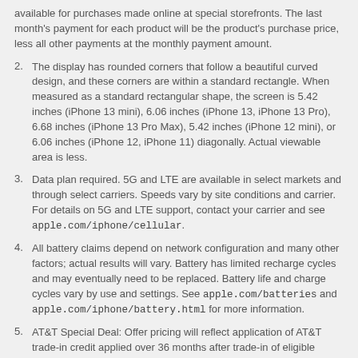available for purchases made online at special storefronts. The last month's payment for each product will be the product's purchase price, less all other payments at the monthly payment amount.
The display has rounded corners that follow a beautiful curved design, and these corners are within a standard rectangle. When measured as a standard rectangular shape, the screen is 5.42 inches (iPhone 13 mini), 6.06 inches (iPhone 13, iPhone 13 Pro), 6.68 inches (iPhone 13 Pro Max), 5.42 inches (iPhone 12 mini), or 6.06 inches (iPhone 12, iPhone 11) diagonally. Actual viewable area is less.
Data plan required. 5G and LTE are available in select markets and through select carriers. Speeds vary by site conditions and carrier. For details on 5G and LTE support, contact your carrier and see apple.com/iphone/cellular.
All battery claims depend on network configuration and many other factors; actual results will vary. Battery has limited recharge cycles and may eventually need to be replaced. Battery life and charge cycles vary by use and settings. See apple.com/batteries and apple.com/iphone/battery.html for more information.
AT&T Special Deal: Offer pricing will reflect application of AT&T trade-in credit applied over 36 months after trade-in of eligible smartphone. Requires upgrade of an existing line or activation of a new line and purchase of a new iPhone 13 mini, iPhone 13, iPhone 13 Pro, or iPhone 13 Pro Max on qualifying 36-month 0% APR installment plan, subject to carrier credit qualification. AT&T Installment Plan with Next Up is not eligible for this promotion